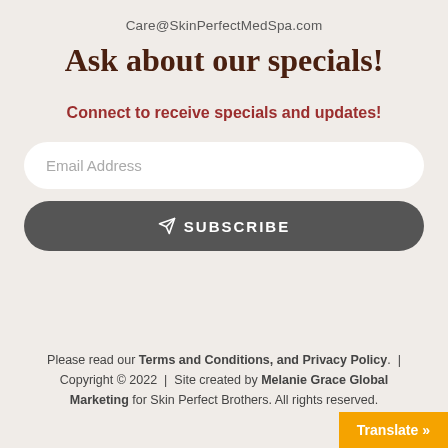Care@SkinPerfectMedSpa.com
Ask about our specials!
Connect to receive specials and updates!
Email Address
SUBSCRIBE
Please read our Terms and Conditions, and Privacy Policy.  |  Copyright © 2022  |  Site created by Melanie Grace Global Marketing for Skin Perfect Brothers. All rights reserved.
Translate »